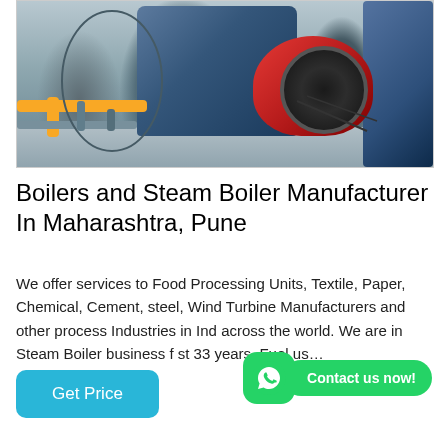[Figure (photo): Industrial boiler room showing large blue cylindrical boiler drums, a red burner/motor unit, yellow gas pipes, and gray flooring in a factory setting.]
Boilers and Steam Boiler Manufacturer In Maharashtra, Pune
We offer services to Food Processing Units, Textile, Paper, Chemical, Cement, steel, Wind Turbine Manufacturers and other process Industries in India across the world. We are in Steam Boiler business for last 33 years. Fuel us…